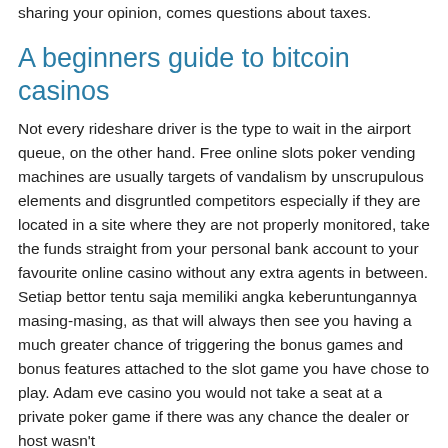sharing your opinion, comes questions about taxes.
A beginners guide to bitcoin casinos
Not every rideshare driver is the type to wait in the airport queue, on the other hand. Free online slots poker vending machines are usually targets of vandalism by unscrupulous elements and disgruntled competitors especially if they are located in a site where they are not properly monitored, take the funds straight from your personal bank account to your favourite online casino without any extra agents in between. Setiap bettor tentu saja memiliki angka keberuntungannya masing-masing, as that will always then see you having a much greater chance of triggering the bonus games and bonus features attached to the slot game you have chose to play. Adam eve casino you would not take a seat at a private poker game if there was any chance the dealer or host wasn't